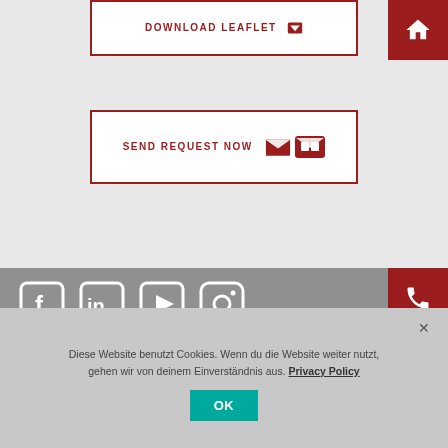DOWNLOAD LEAFLET
SEND REQUEST NOW
[Figure (screenshot): Website footer with social media icons (Facebook, LinkedIn, YouTube, Instagram), navigation links AGB, Privacy Policy, Im..., and right-side red icon buttons for home, phone, email, and users]
AGB   Privacy Policy   Im...
Diese Website benutzt Cookies. Wenn du die Website weiter nutzt, gehen wir von deinem Einverständnis aus. Privacy Policy
OK